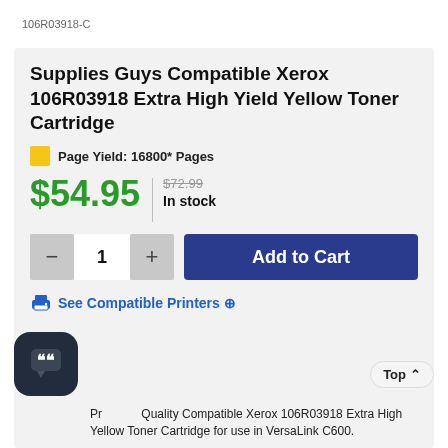106R03918-C
Supplies Guys Compatible Xerox 106R03918 Extra High Yield Yellow Toner Cartridge
Page Yield: 16800* Pages
$54.95
$72.99 In stock
1
Add to Cart
See Compatible Printers ⊕
Premium Quality Compatible Xerox 106R03918 Extra High Yellow Toner Cartridge for use in VersaLink C600.